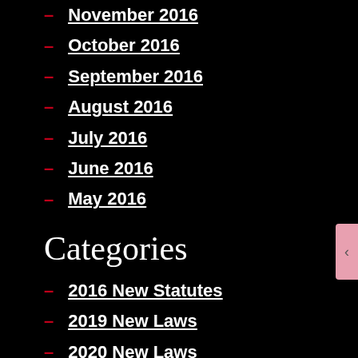November 2016
October 2016
September 2016
August 2016
July 2016
June 2016
May 2016
Categories
2016 New Statutes
2019 New Laws
2020 New Laws
Arbitration
Civil Procedure
Construction